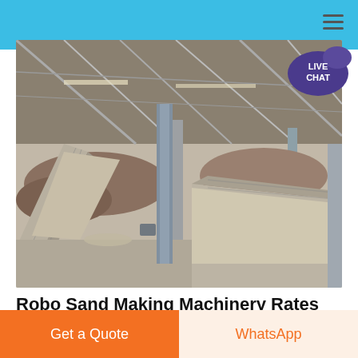[Figure (photo): Industrial stone crushing / sand making facility interior showing conveyor belts carrying crushed stone and sand, with steel structural framework and piles of aggregate material in the background.]
[Figure (illustration): Live Chat speech bubble badge in purple with white text 'LIVE CHAT']
Robo Sand Making Machinery Rates Stone Crusher used for Ore
Get a Quote
WhatsApp